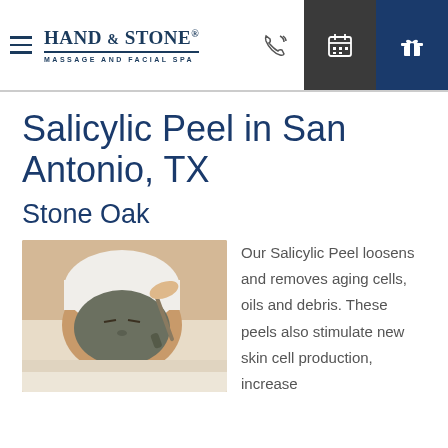[Figure (logo): Hand & Stone Massage and Facial Spa logo with hamburger menu icon]
[Figure (illustration): Navigation icons: phone, calendar, gift on dark and navy backgrounds]
Salicylic Peel in San Antonio, TX
Stone Oak
[Figure (photo): Woman receiving a facial mask treatment at a spa, lying down with white towel on head, esthetician applying dark clay mask]
Our Salicylic Peel loosens and removes aging cells, oils and debris. These peels also stimulate new skin cell production, increase